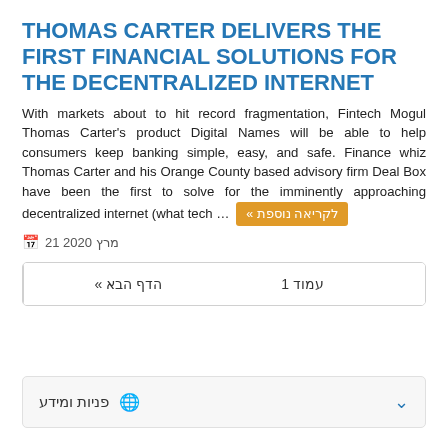THOMAS CARTER DELIVERS THE FIRST FINANCIAL SOLUTIONS FOR THE DECENTRALIZED INTERNET
With markets about to hit record fragmentation, Fintech Mogul Thomas Carter's product Digital Names will be able to help consumers keep banking simple, easy, and safe. Finance whiz Thomas Carter and his Orange County based advisory firm Deal Box have been the first to solve for the imminently approaching decentralized internet (what tech … לקריאה נוספת »
מרץ 2020 21
הדף הבא »   עמוד 1
פניות ומידע